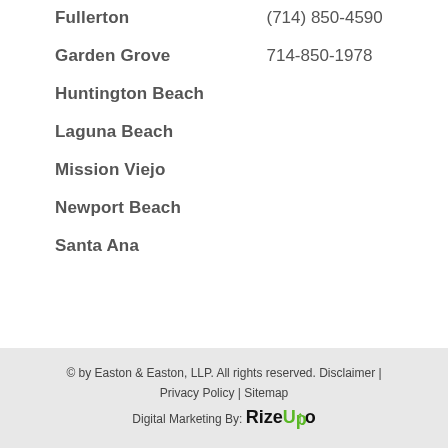Fullerton
(714) 850-4590
Garden Grove
714-850-1978
Huntington Beach
Laguna Beach
Mission Viejo
Newport Beach
Santa Ana
© by Easton & Easton, LLP. All rights reserved. Disclaimer | Privacy Policy | Sitemap
Digital Marketing By: RizeUp